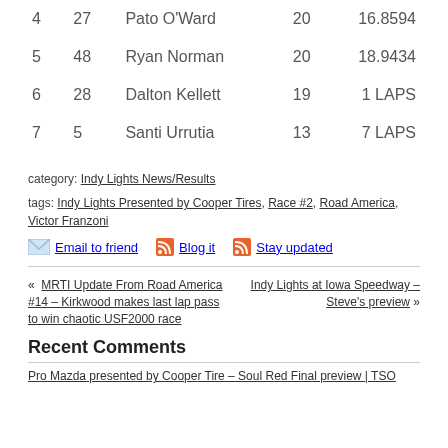| 4 | 27 | Pato O'Ward | 20 | 16.8594 |
| 5 | 48 | Ryan Norman | 20 | 18.9434 |
| 6 | 28 | Dalton Kellett | 19 | 1 LAPS |
| 7 | 5 | Santi Urrutia | 13 | 7 LAPS |
category: Indy Lights News/Results
tags: Indy Lights Presented by Cooper Tires, Race #2, Road America, Victor Franzoni
Email to friend   Blog it   Stay updated
« MRTI Update From Road America #14 – Kirkwood makes last lap pass to win chaotic USF2000 race
Indy Lights at Iowa Speedway – Steve's preview »
Recent Comments
Pro Mazda presented by Cooper Tire – Soul Red Final preview | TSO